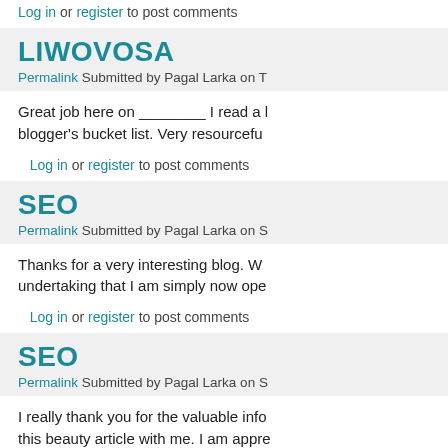Log in or register to post comments
LIWOVOSA
Permalink Submitted by Pagal Larka on T
Great job here on ________ I read a blogger's bucket list. Very resourcef
Log in or register to post comments
SEO
Permalink Submitted by Pagal Larka on S
Thanks for a very interesting blog. W undertaking that I am simply now ope
Log in or register to post comments
SEO
Permalink Submitted by Pagal Larka on S
I really thank you for the valuable inf this beauty article with me. I am appr All the best! 日本語